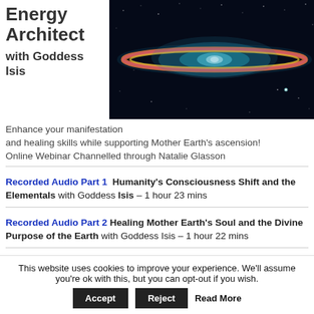Energy Architect
with Goddess Isis
[Figure (photo): Space photograph of a galaxy (Sombrero Galaxy) with a bright orange-pink ring, glowing teal center, and stars on a dark background.]
Enhance your manifestation and healing skills while supporting Mother Earth's ascension! Online Webinar Channelled through Natalie Glasson
Recorded Audio Part 1  Humanity's Consciousness Shift and the Elementals with Goddess Isis – 1 hour 23 mins
Recorded Audio Part 2  Healing Mother Earth's Soul and the Divine Purpose of the Earth with Goddess Isis – 1 hour 22 mins
This website uses cookies to improve your experience. We'll assume you're ok with this, but you can opt-out if you wish.